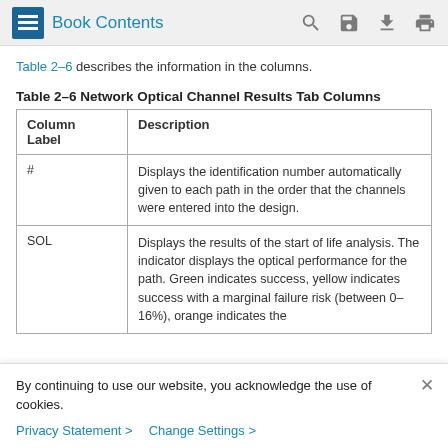Book Contents
Table 2-6 describes the information in the columns.
Table 2-6 Network Optical Channel Results Tab Columns
| Column Label | Description |
| --- | --- |
| # | Displays the identification number automatically given to each path in the order that the channels were entered into the design. |
| SOL | Displays the results of the start of life analysis. The indicator displays the optical performance for the path. Green indicates success, yellow indicates success with a marginal failure risk (between 0-16%), orange indicates the |
By continuing to use our website, you acknowledge the use of cookies.
Privacy Statement > Change Settings >